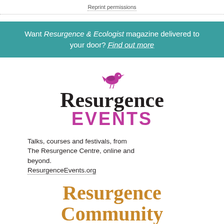Reprint permissions
Want Resurgence & Ecologist magazine delivered to your door? Find out more
[Figure (logo): Resurgence Events logo with purple bird silhouette above the text 'Resurgence' in dark serif font and 'EVENTS' in bold purple sans-serif font]
Talks, courses and festivals, from The Resurgence Centre, online and beyond.
ResurgenceEvents.org
[Figure (logo): Resurgence Community logo in golden/amber serif font, partially visible showing 'Resurgence' and beginning of 'Community']